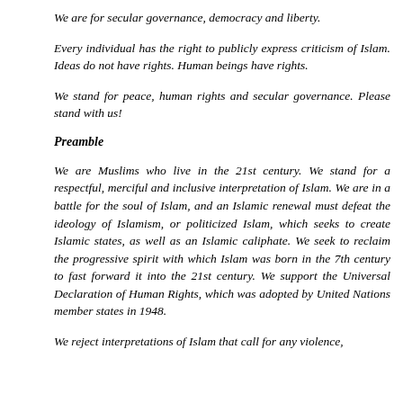We are for secular governance, democracy and liberty.
Every individual has the right to publicly express criticism of Islam. Ideas do not have rights. Human beings have rights.
We stand for peace, human rights and secular governance. Please stand with us!
Preamble
We are Muslims who live in the 21st century. We stand for a respectful, merciful and inclusive interpretation of Islam. We are in a battle for the soul of Islam, and an Islamic renewal must defeat the ideology of Islamism, or politicized Islam, which seeks to create Islamic states, as well as an Islamic caliphate. We seek to reclaim the progressive spirit with which Islam was born in the 7th century to fast forward it into the 21st century. We support the Universal Declaration of Human Rights, which was adopted by United Nations member states in 1948.
We reject interpretations of Islam that call for any violence,